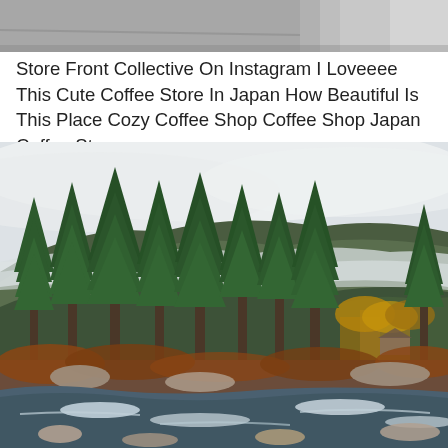[Figure (photo): Partial view of a storefront or street scene with concrete/pavement, cropped at top]
Store Front Collective On Instagram I Loveeee This Cute Coffee Store In Japan How Beautiful Is This Place Cozy Coffee Shop Coffee Shop Japan Coffee Store
[Figure (photo): A scenic landscape photograph showing tall evergreen pine trees in the foreground, a river with rapids in the lower portion, autumn-colored shrubs and trees in the middle ground, and misty fog-covered mountains with dense forest in the background under an overcast sky]